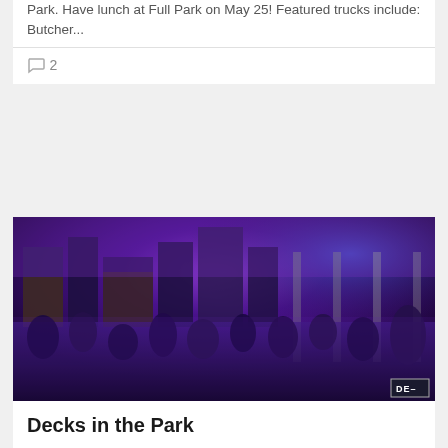Park. Have lunch at Full Park on May 25! Featured trucks include: Butcher...
2
[Figure (photo): Nighttime outdoor event at Klyde Warren Park with purple and blue lighting over a crowd of people, city skyscrapers visible in background, DEJ logo watermark bottom right]
Decks in the Park
Klyde Warren Park Gets Decked Out  The sun began to set as its rays peaked through the skyline of the shimmering downtown Dallas skyscrapers.  A clear blue day presented itself to Decks In The Park